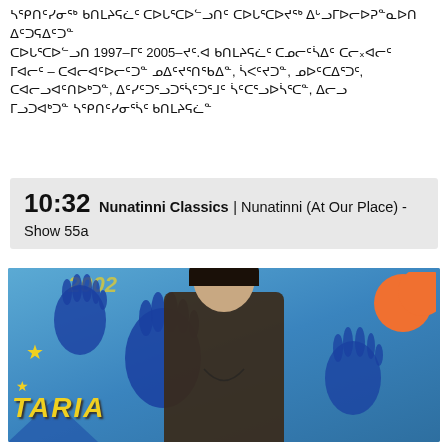ᓴᕿᑎᑦᓯᓂᖅ ᑲᑎᒪᔨᕋᓛᑦ ᑕᐅᒐᕐᑕᐅᓪᓗᑎᑦ ᖃᐱᑕᓪᓗᐊᓄᑦ ᐃᒡᓗᒥᐅᓕᐅᕈᓐᓇᐅᑎ ᐃᑦᑐᕋᐃᑦᑐᓐ ᑕᐅᒐᕐᑕᐅᓪᓗᑎ ᑕᐅᒐᕐᑕᐅᔪᖅ ᑐᕌᖏᑦᑐᐊᓗᒻᓂᒃ ᑲᑕᒃᑎᕋᓛᓂᓪᓗ ᒥᐊᓂᕆᔭᐅᓂᕐᒥᒃ – ᑕᐊᓕᐊᑦᐅᓕᑦᑐᓐ ᓄᐃᑦᓲᒐᓚᕐᑎᖃᐃ, ᓵᐸᑦᔪᑐᓐ, ᓄᐅᑦᑕᐃᕐᑐᑦ, ᑕᐊᓕᓗᐊᑦᑎᐅᒃᑐᓐ, ᐃᑦᓯᑦᑐᕐᓗᑐᕐᓵᑦᑐᕐᒧᑦ ᓵᑦᑕᕐᓗᐅᓵᕐᑕᓐ, ᐃᓕᓗ ᒥᓗᑐᐊᒃᑐᓐ ᓴᕿᑎᑦᓯᓂᕐᓵᑦ ᑲᑎᒪᔨᕋᓛᓐ
10:32 Nunatinni Classics | Nunatinni (At Our Place) - Show 55a
[Figure (photo): Television screenshot of a woman with dark hair sitting in front of a colourful blue background decorated with painted handprints and a sun. Yellow text 'TARIA' visible at the bottom left. Year '2002' visible at the top. The woman appears to be a TV host or presenter.]